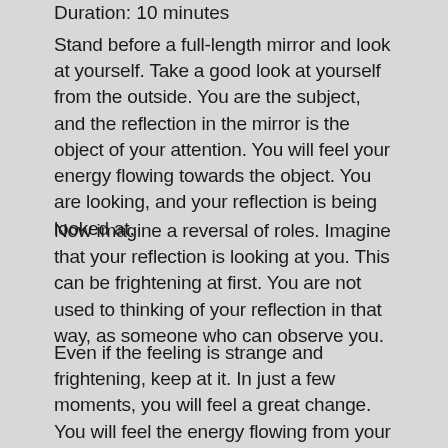Duration: 10 minutes
Stand before a full-length mirror and look at yourself. Take a good look at yourself from the outside. You are the subject, and the reflection in the mirror is the object of your attention. You will feel your energy flowing towards the object. You are looking, and your reflection is being looked at.
Now imagine a reversal of roles. Imagine that your reflection is looking at you. This can be frightening at first. You are not used to thinking of your reflection in that way, as someone who can observe you.
Even if the feeling is strange and frightening, keep at it. In just a few moments, you will feel a great change. You will feel the energy flowing from your reflection towards you. You have now closed the circuit. By closing the energy circuit, you have ensured that the energy is not wasted, it…